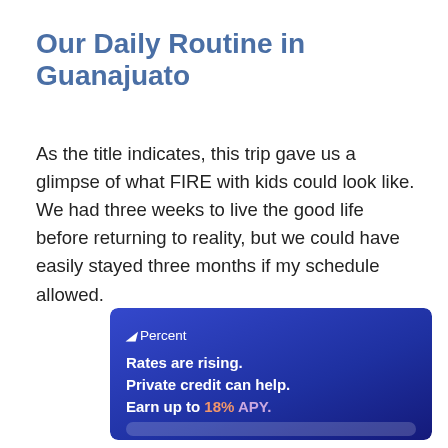Our Daily Routine in Guanajuato
As the title indicates, this trip gave us a glimpse of what FIRE with kids could look like. We had three weeks to live the good life before returning to reality, but we could have easily stayed three months if my schedule allowed.
[Figure (other): Advertisement banner with dark blue gradient background. Shows 'Percent' logo with slash icon, and text: 'Rates are rising. Private credit can help. Earn up to 18% APY.' with '18%' in orange and 'APY.' in pink/lavender.]